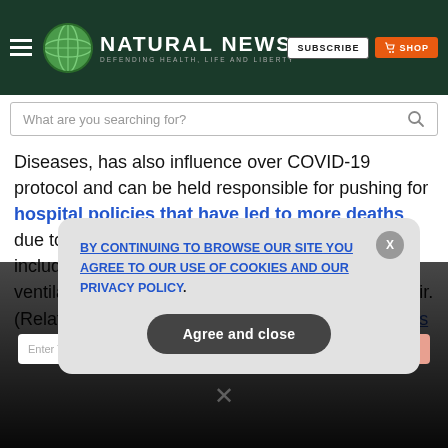NATURAL NEWS — DEFENDING HEALTH, LIFE AND LIBERTY | SUBSCRIBE | SHOP
What are you searching for?
...has also influence over COVID-19 protocol and can be held responsible for pushing for hospital policies that have led to more deaths due to the coronavirus. Some of these policies include putting severe COVID-19 patients on ventilators and giving them the toxic drug remdesivir. (Related: Dr. Bryan Ardis: Fauci knows remdesivir is...
GET THE WORLD'S BEST NATURAL HEALTH NEWSLETTER DELIVERED STRAIGHT TO YOUR INBOX
Enter Your Email Address
SUBSCRIBE
BY CONTINUING TO BROWSE OUR SITE YOU AGREE TO OUR USE OF COOKIES AND OUR PRIVACY POLICY.
Agree and close